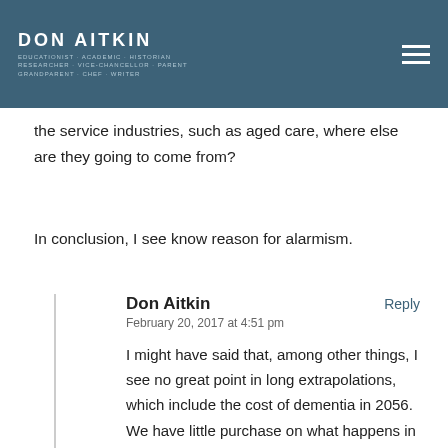DON AITKIN
the service industries, such as aged care, where else are they going to come from?
In conclusion, I see know reason for alarmism.
Don Aitkin
February 20, 2017 at 4:51 pm
I might have said that, among other things, I see no great point in long extrapolations, which include the cost of dementia in 2056. We have little purchase on what happens in the next forty years. But dementia is a growing problem because our population is